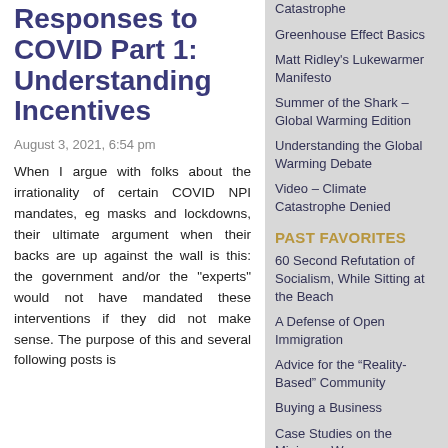Responses to COVID Part 1: Understanding Incentives
August 3, 2021, 6:54 pm
When I argue with folks about the irrationality of certain COVID NPI mandates, eg masks and lockdowns, their ultimate argument when their backs are up against the wall is this: the government and/or the "experts" would not have mandated these interventions if they did not make sense. The purpose of this and several following posts is
Catastrophe
Greenhouse Effect Basics
Matt Ridley's Lukewarmer Manifesto
Summer of the Shark – Global Warming Edition
Understanding the Global Warming Debate
Video – Climate Catastrophe Denied
PAST FAVORITES
60 Second Refutation of Socialism, While Sitting at the Beach
A Defense of Open Immigration
Advice for the “Reality-Based” Community
Buying a Business
Case Studies on the Minimum Wage
Corporate DNA and Value Creation
Coyote's Law